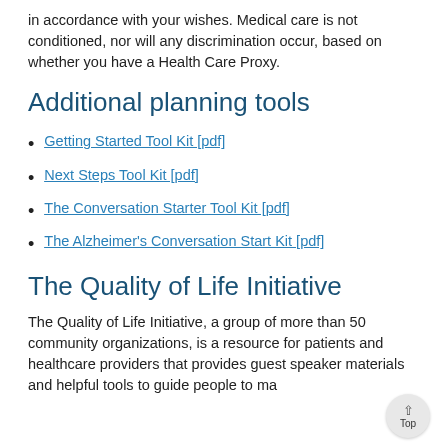in accordance with your wishes. Medical care is not conditioned, nor will any discrimination occur, based on whether you have a Health Care Proxy.
Additional planning tools
Getting Started Tool Kit [pdf]
Next Steps Tool Kit [pdf]
The Conversation Starter Tool Kit [pdf]
The Alzheimer's Conversation Start Kit [pdf]
The Quality of Life Initiative
The Quality of Life Initiative, a group of more than 50 community organizations, is a resource for patients and healthcare providers that provides guest speaker materials and helpful tools to guide people to ma